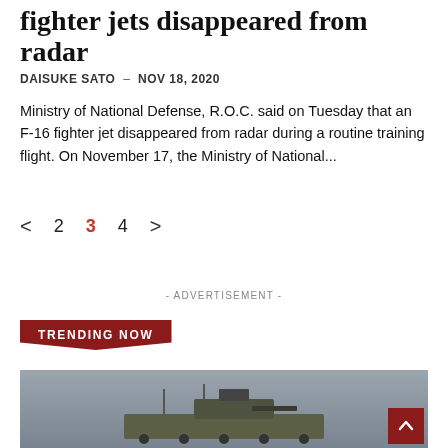fighter jets disappeared from radar
DAISUKE SATO  –  NOV 18, 2020
Ministry of National Defense, R.O.C. said on Tuesday that an F-16 fighter jet disappeared from radar during a routine training flight. On November 17, the Ministry of National...
< 2 3 4 >
- ADVERTISEMENT -
TRENDING NOW
[Figure (photo): Military armored vehicle on water or near coast, grey overcast sky]